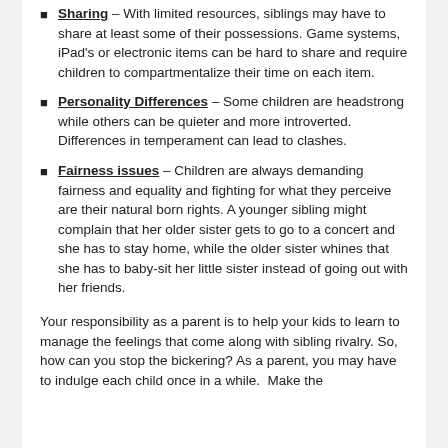Sharing – With limited resources, siblings may have to share at least some of their possessions. Game systems, iPad's or electronic items can be hard to share and require children to compartmentalize their time on each item.
Personality Differences – Some children are headstrong while others can be quieter and more introverted. Differences in temperament can lead to clashes.
Fairness issues – Children are always demanding fairness and equality and fighting for what they perceive are their natural born rights. A younger sibling might complain that her older sister gets to go to a concert and she has to stay home, while the older sister whines that she has to baby-sit her little sister instead of going out with her friends.
Your responsibility as a parent is to help your kids to learn to manage the feelings that come along with sibling rivalry. So, how can you stop the bickering? As a parent, you may have to indulge each child once in a while. Make the